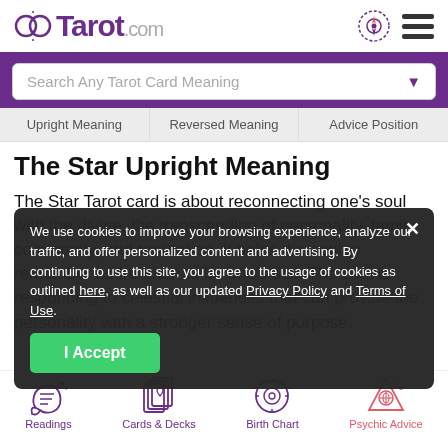Tarot.com
Search Any Tarot Card Meaning
Upright Meaning   Reversed Meaning   Advice Position
The Star Upright Meaning
The Star Tarot card is about reconnecting one's soul with the divine, the transcending of personality, family, community, and reputation. It helps the soul to remember its freedom to be one's self. The soul is responding to celestial influences that can provide the personality with a stronger sense of purpose.
We use cookies to improve your browsing experience, analyze our traffic, and offer personalized content and advertising. By continuing to use this site, you agree to the usage of cookies as outlined here, as well as our updated Privacy Policy and Terms of Use.
I Accept
Readings   Cards & Decks   Birth Chart   Psychic Advice